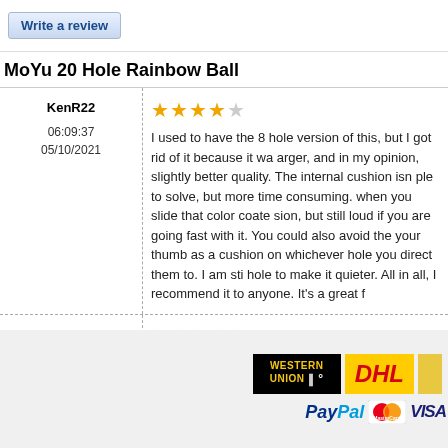Write a review
MoYu 20 Hole Rainbow Ball
KenR22
06:09:37
05/10/2021
★★★★☆
I used to have the 8 hole version of this, but I got rid of it because it was arger, and in my opinion, slightly better quality. The internal cushion isn't ple to solve, but more time consuming. when you slide that color coated sion, but still loud if you are going fast with it. You could also avoid the s your thumb as a cushion on whichever hole you direct them to. I am sti hole to make it quieter. All in all, I recommend it to anyone. It's a great f
Adilson
06:14:55
01/22/2020
★★★★★
Nice toy and so cool.Its like a softball size, very big.I loved it.Thank you
[Figure (logo): Western Union logo (black background, yellow text), DHL logo (yellow background, red text), PayPal logo, MasterCard logo, VISA logo]